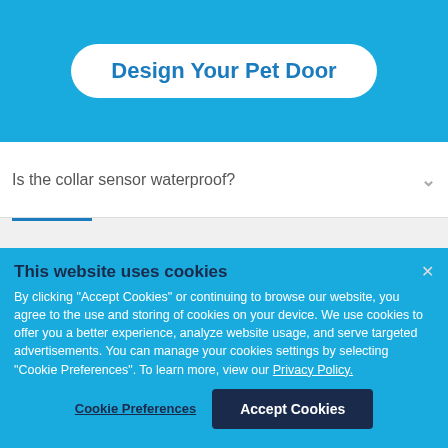Design Your Pet Door
Is the collar sensor waterproof?
Does the myQ Pet Portal work with multiple dogs (and what about my cat)?
This website uses cookies
By clicking "Accept Cookies" or continuing to browse our website, you agree to the use and storing of cookies on your device. We use cookies to offer you a better experience, analyze website usage, and serve targeted advertisements. You can manage your cookies settings by selecting "Cookie Preferences". To learn more, view our Privacy Policy.
Cookie Preferences
Accept Cookies